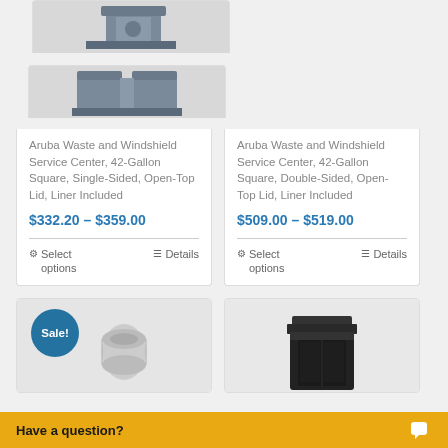[Figure (photo): Product image of Aruba Waste and Windshield Service Center, 42-Gallon Square, Single-Sided, Open-Top Lid]
Aruba Waste and Windshield Service Center, 42-Gallon Square, Single-Sided, Open-Top Lid, Liner Included
$332.20 – $359.00
Select options
Details
[Figure (photo): Product image of Aruba Waste and Windshield Service Center, 42-Gallon Square, Double-Sided, Open-Top Lid]
Aruba Waste and Windshield Service Center, 42-Gallon Square, Double-Sided, Open-Top Lid, Liner Included
$509.00 – $519.00
Select options
Details
[Figure (photo): Product image (Sale) showing a roll of paper/trash liner]
[Figure (photo): Product image of a black square trash can/container]
Have a question?